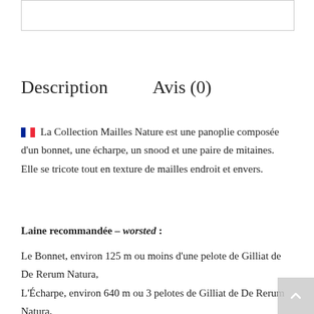[Figure (other): Image placeholder box at top of page]
Description    Avis (0)
🇫🇷 La Collection Mailles Nature est une panoplie composée d'un bonnet, une écharpe, un snood et une paire de mitaines. Elle se tricote tout en texture de mailles endroit et envers.
Laine recommandée – worsted :
Le Bonnet, environ 125 m ou moins d'une pelote de Gilliat de De Rerum Natura,
L'Écharpe, environ 640 m ou 3 pelotes de Gilliat de De Rerum Natura,